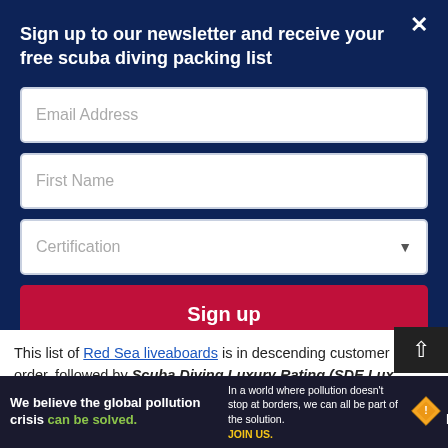Sign up to our newsletter and receive your free scuba diving packing list
[Figure (screenshot): Email Address input field (empty text input)]
[Figure (screenshot): First Name input field (empty text input)]
[Figure (screenshot): Certification dropdown select field]
[Figure (screenshot): Sign up button (crimson red)]
This list of Red Sea liveaboards is in descending customer rating order, followed by Scuba Diving Luxury Rating (SDE Lux Rating, see above), so the liveaboards with the highest c…
[Figure (infographic): Pure Earth advertisement banner: 'We believe the global pollution crisis can be solved.' with Pure Earth logo]